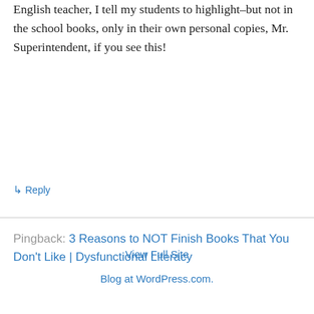English teacher, I tell my students to highlight–but not in the school books, only in their own personal copies, Mr. Superintendent, if you see this!
↳ Reply
Pingback: 3 Reasons to NOT Finish Books That You Don't Like | Dysfunctional Literacy
View Full Site
Blog at WordPress.com.